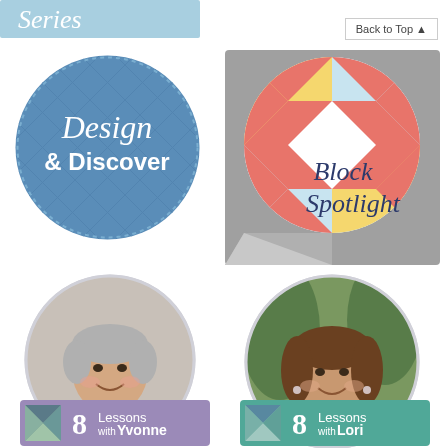Series
Back to Top ▲
[Figure (logo): Design & Discover logo — blue circle with quilted diamond pattern, white script text 'Design & Discover']
[Figure (logo): Block Spotlight logo — square with gray/rounded corner peel, quilt block star in red/yellow/blue, dark navy script text 'Block Spotlight']
[Figure (photo): Circular portrait photo of a woman with short gray hair and a red top, smiling]
[Figure (logo): 8 Lessons with Yvonne — purple/mauve banner with quilt block icon and white text]
[Figure (photo): Circular portrait photo of a woman with brown shoulder-length hair, smiling, outdoors]
[Figure (logo): 8 Lessons with Lori — teal/green banner with quilt block icon and white text]